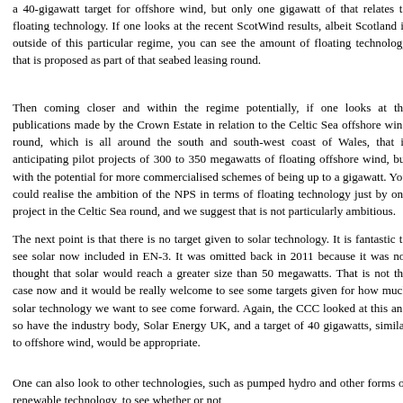a 40-gigawatt target for offshore wind, but only one gigawatt of that relates to floating technology. If one looks at the recent ScotWind results, albeit Scotland is outside of this particular regime, you can see the amount of floating technology that is proposed as part of that seabed leasing round.
Then coming closer and within the regime potentially, if one looks at the publications made by the Crown Estate in relation to the Celtic Sea offshore wind round, which is all around the south and south-west coast of Wales, that is anticipating pilot projects of 300 to 350 megawatts of floating offshore wind, but with the potential for more commercialised schemes of being up to a gigawatt. You could realise the ambition of the NPS in terms of floating technology just by one project in the Celtic Sea round, and we suggest that is not particularly ambitious.
The next point is that there is no target given to solar technology. It is fantastic to see solar now included in EN-3. It was omitted back in 2011 because it was not thought that solar would reach a greater size than 50 megawatts. That is not the case now and it would be really welcome to see some targets given for how much solar technology we want to see come forward. Again, the CCC looked at this and so have the industry body, Solar Energy UK, and a target of 40 gigawatts, similar to offshore wind, would be appropriate.
One can also look to other technologies, such as pumped hydro and other forms of renewable technology, to see whether or not